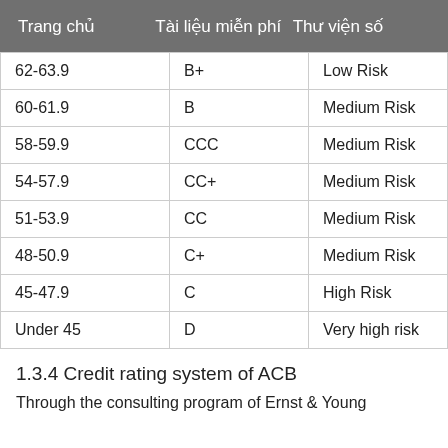Trang chủ   Tài liệu miễn phí   Thư viện số
| 62-63.9 | B+ | Low Risk |
| 60-61.9 | B | Medium Risk |
| 58-59.9 | CCC | Medium Risk |
| 54-57.9 | CC+ | Medium Risk |
| 51-53.9 | CC | Medium Risk |
| 48-50.9 | C+ | Medium Risk |
| 45-47.9 | C | High Risk |
| Under 45 | D | Very high risk |
1.3.4 Credit rating system of ACB
Through the consulting program of Ernst & Young